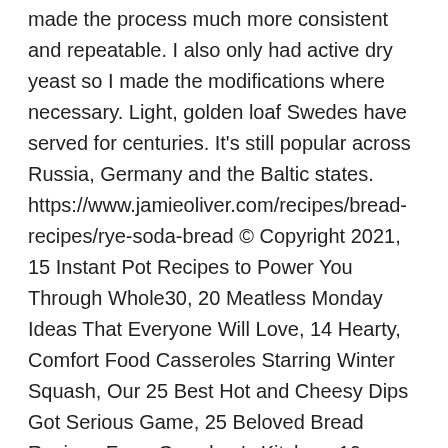made the process much more consistent and repeatable. I also only had active dry yeast so I made the modifications where necessary. Light, golden loaf Swedes have served for centuries. It's still popular across Russia, Germany and the Baltic states. https://www.jamieoliver.com/recipes/bread-recipes/rye-soda-bread © Copyright 2021, 15 Instant Pot Recipes to Power You Through Whole30, 20 Meatless Monday Ideas That Everyone Will Love, 14 Hearty, Comfort Food Casseroles Starring Winter Squash, Our 25 Best Hot and Cheesy Dips Got Serious Game, 25 Beloved Bread Recipes From Grandma's Kitchen, 10 Banana Bundt Cakes to Make with Excess Bananas, The Best Comfort Foods to Get You Through Flu Season, 12 Recipes to Turn Extra Chicken into Healthy Main Dish Salads, 12 Vegetable-Friendly Side Dishes for the Mediterranean Diet, 19 Hearty Meatless Soups and Stews To Keep You Warm This Winter, 10 Vegan Bowls Packed with Veggies and Grains, 20 Recipes for the Super Bowl for Two People. If you want your bread to remain fresh for a long time - try this rye bread recipe. I have been looking for a good Russian Black Bread